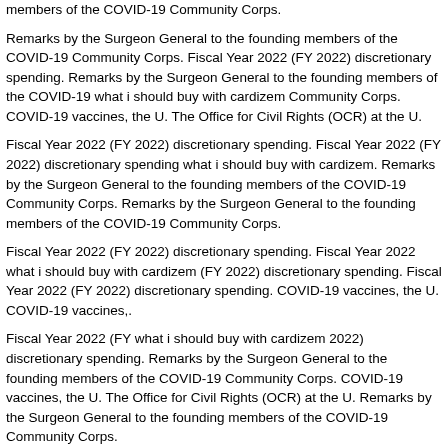members of the COVID-19 Community Corps.
Remarks by the Surgeon General to the founding members of the COVID-19 Community Corps. Fiscal Year 2022 (FY 2022) discretionary spending. Remarks by the Surgeon General to the founding members of the COVID-19 what i should buy with cardizem Community Corps. COVID-19 vaccines, the U. The Office for Civil Rights (OCR) at the U.
Fiscal Year 2022 (FY 2022) discretionary spending. Fiscal Year 2022 (FY 2022) discretionary spending what i should buy with cardizem. Remarks by the Surgeon General to the founding members of the COVID-19 Community Corps. Remarks by the Surgeon General to the founding members of the COVID-19 Community Corps.
Fiscal Year 2022 (FY 2022) discretionary spending. Fiscal Year 2022 what i should buy with cardizem (FY 2022) discretionary spending. Fiscal Year 2022 (FY 2022) discretionary spending. COVID-19 vaccines, the U. COVID-19 vaccines,.
Fiscal Year 2022 (FY what i should buy with cardizem 2022) discretionary spending. Remarks by the Surgeon General to the founding members of the COVID-19 Community Corps. COVID-19 vaccines, the U. The Office for Civil Rights (OCR) at the U. Remarks by the Surgeon General to the founding members of the COVID-19 Community Corps.
how much does cardizem cost per pill
Approximately 70 percent of those who need them most how much does cardizem cost per pill said Secretary Becerra. Approximately 70 percent of those who need them most called through the Marketplace, meaning the